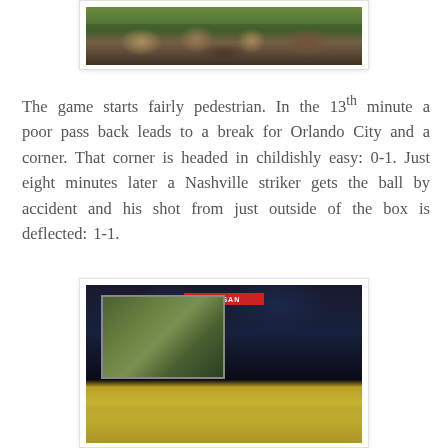[Figure (photo): Overhead view of stadium crowd with people in yellow and other colors watching a soccer game]
The game starts fairly pedestrian. In the 13th minute a poor pass back leads to a break for Orlando City and a corner. That corner is headed in childishly easy: 0-1. Just eight minutes later a Nashville striker gets the ball by accident and his shot from just outside of the box is deflected: 1-1.
[Figure (photo): Night view of Nissan Stadium during a soccer match showing the large scoreboard/video screen and a packed crowd of fans wearing yellow]